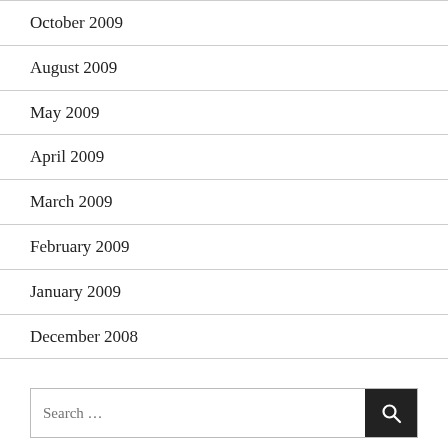October 2009
August 2009
May 2009
April 2009
March 2009
February 2009
January 2009
December 2008
Search …